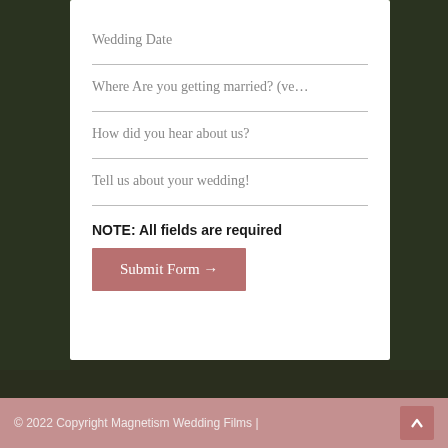Wedding Date
Where Are you getting married? (ve…
How did you hear about us?
Tell us about your wedding!
NOTE: All fields are required
Submit Form →
© 2022 Copyright Magnetism Wedding Films |